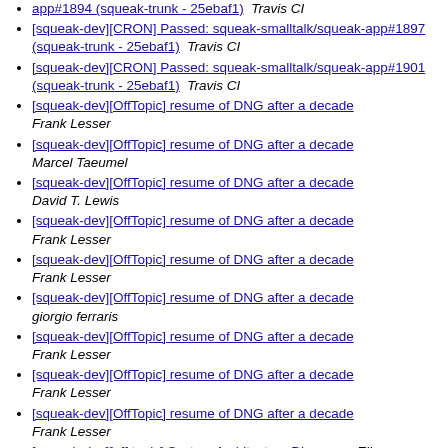[squeak-dev][CRON] Passed: squeak-smalltalk/squeak-app#1894 (squeak-trunk - 25ebaf1) Travis CI
[squeak-dev][CRON] Passed: squeak-smalltalk/squeak-app#1897 (squeak-trunk - 25ebaf1) Travis CI
[squeak-dev][CRON] Passed: squeak-smalltalk/squeak-app#1901 (squeak-trunk - 25ebaf1) Travis CI
[squeak-dev][OffTopic] resume of DNG after a decade Frank Lesser
[squeak-dev][OffTopic] resume of DNG after a decade Marcel Taeumel
[squeak-dev][OffTopic] resume of DNG after a decade David T. Lewis
[squeak-dev][OffTopic] resume of DNG after a decade Frank Lesser
[squeak-dev][OffTopic] resume of DNG after a decade Frank Lesser
[squeak-dev][OffTopic] resume of DNG after a decade giorgio ferraris
[squeak-dev][OffTopic] resume of DNG after a decade Frank Lesser
[squeak-dev][OffTopic] resume of DNG after a decade Frank Lesser
[squeak-dev][OffTopic] resume of DNG after a decade Frank Lesser
[squeak-dev][off topic] System Architecture Diagrams Elio Miranda